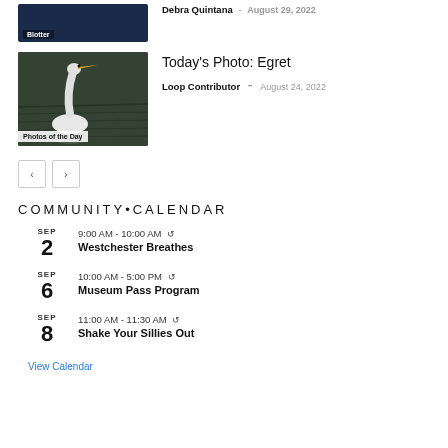[Figure (photo): Blotter article thumbnail - dark navy background with 'Blotter' label]
Debra Quintana - August 29, 2022
[Figure (photo): Photo of a white egret bird on dark water, labeled 'Photos of the Day']
Today's Photo: Egret
Loop Contributor - August 24, 2022
COMMUNITY•CALENDAR
SEP 2 - 9:00 AM - 10:00 AM - Westchester Breathes
SEP 6 - 10:00 AM - 5:00 PM - Museum Pass Program
SEP 8 - 11:00 AM - 11:30 AM - Shake Your Sillies Out
View Calendar